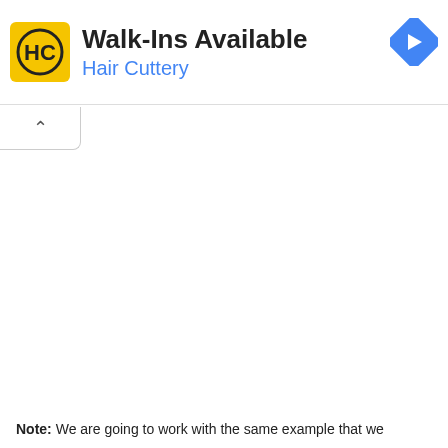[Figure (screenshot): Hair Cuttery advertisement banner with yellow HC logo, 'Walk-Ins Available' headline, 'Hair Cuttery' subtitle in blue, a blue diamond navigation icon, and UI control buttons (play and close).]
Note: We are going to work with the same example that we